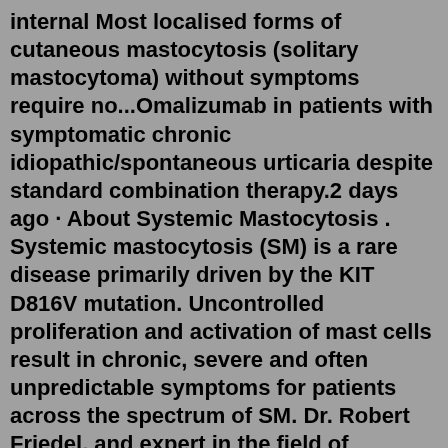internal Most localised forms of cutaneous mastocytosis (solitary mastocytoma) without symptoms require no...Omalizumab in patients with symptomatic chronic idiopathic/spontaneous urticaria despite standard combination therapy.2 days ago · About Systemic Mastocytosis . Systemic mastocytosis (SM) is a rare disease primarily driven by the KIT D816V mutation. Uncontrolled proliferation and activation of mast cells result in chronic, severe and often unpredictable symptoms for patients across the spectrum of SM. Dr. Robert Friedel, and expert in the field of Borderline Personality Disorder or BPD provides an informed but easily understood account of symptoms, the nature of the disturbances, and presents...Mastocytosis is a condition where mast cells accumulate in the skin or sometimes in internal Most localised forms of cutaneous mastocytosis (solitary mastocytoma) without symptoms require no...Scrolldrop.com the fast live reddit media browser. Switch NSFW (adult) Mode. For a bit of everything